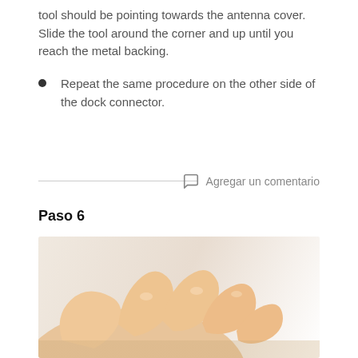tool should be pointing towards the antenna cover. Slide the tool around the corner and up until you reach the metal backing.
Repeat the same procedure on the other side of the dock connector.
Agregar un comentario
Paso 6
[Figure (photo): A hand with fingers touching or pressing on a surface, demonstrating a step in a repair procedure.]